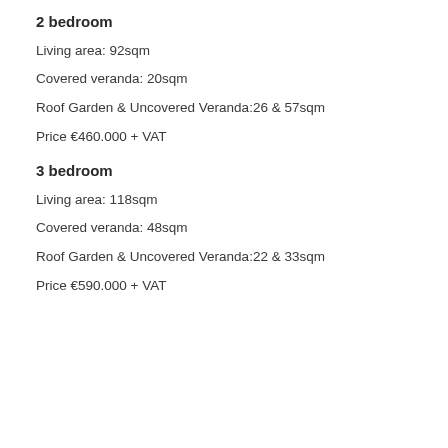2 bedroom
Living area: 92sqm
Covered veranda: 20sqm
Roof Garden & Uncovered Veranda:26 & 57sqm
Price €460.000 + VAT
3 bedroom
Living area: 118sqm
Covered veranda: 48sqm
Roof Garden & Uncovered Veranda:22 & 33sqm
Price €590.000 + VAT